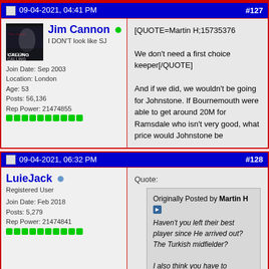09-04-2021, 04:41 PM  #127
Jim Cannon  I DON'T look like SJ
Join Date: Sep 2003
Location: London
Age: 53
Posts: 56,136
Rep Power: 21474855
[QUOTE=Martin H;15735376

We don't need a first choice keeper[/QUOTE]

And if we did, we wouldn't be going for Johnstone. If Bournemouth were able to get around 20M for Ramsdale who isn't very good, what price would Johnstone be
09-04-2021, 06:32 PM  #128
LuieJack  Registered User
Join Date: Feb 2018
Posts: 5,279
Rep Power: 21474841
Quote:
Originally Posted by Martin H
Haven't you left their best player since He arrived out? The Turkish midfielder?

I also think you have to consider that some of those players